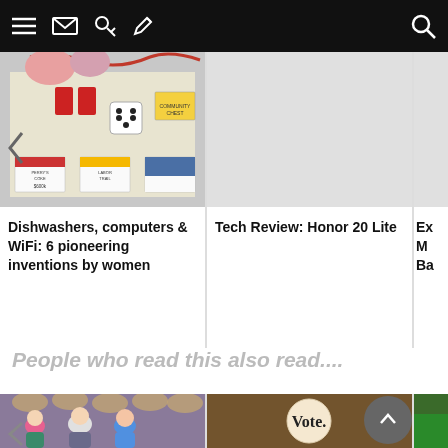Navigation bar with menu, mail, key, pencil, and search icons
[Figure (photo): Monopoly board game with dice, red pieces and property cards visible]
Dishwashers, computers & WiFi: 6 pioneering inventions by women
Tech Review: Honor 20 Lite
Ex... Mo... Ba...
People who read this also read....
[Figure (photo): Group of young people laughing at an event with cowboy hat decorations on wall]
[Figure (photo): A Vote button/badge on a brown felt background]
[Figure (photo): Partial image, green background]